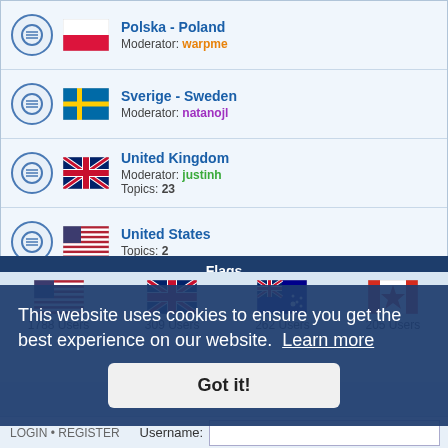Polska - Poland, Moderator: warpme
Sverige - Sweden, Moderator: natanojl
United Kingdom, Moderator: justinh, Topics: 23
United States, Topics: 2
Flags
[Figure (infographic): Flags with user counts: US flag 1788 Users, UK flag 309 Users, Australia flag 262 Users, Canada flag 205 Users]
This website uses cookies to ensure you get the best experience on our website. Learn more
Got it!
LOGIN • REGISTER
Username: